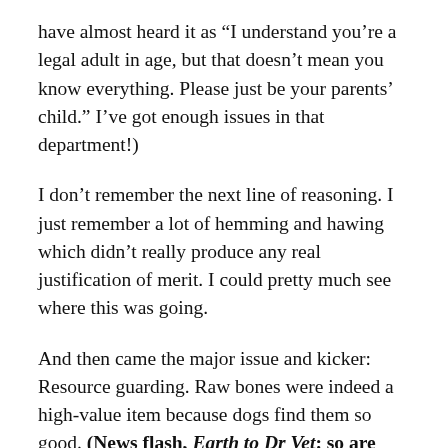have almost heard it as “I understand you’re a legal adult in age, but that doesn’t mean you know everything. Please just be your parents’ child.” I’ve got enough issues in that department!)
I don’t remember the next line of reasoning. I just remember a lot of hemming and hawing which didn’t really produce any real justification of merit. I could pretty much see where this was going.
And then came the major issue and kicker: Resource guarding. Raw bones were indeed a high-value item because dogs find them so good. (News flash, Earth to Dr Vet: so are toys, food, and space.) At this point, Mallory had only been with us for about 3 months, so she was settling in her new home and well into an obedience program to polish up some rusty skills. Due to Zeke’s almost obsessive possession of his ball, though, we made sure to incorporate any excuse we